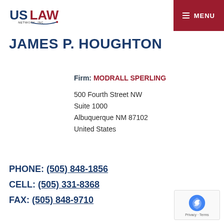US LAW NETWORK, INC. | MENU
JAMES P. HOUGHTON
Firm: MODRALL SPERLING
500 Fourth Street NW
Suite 1000
Albuquerque NM 87102
United States
PHONE: (505) 848-1856
CELL: (505) 331-8368
FAX: (505) 848-9710